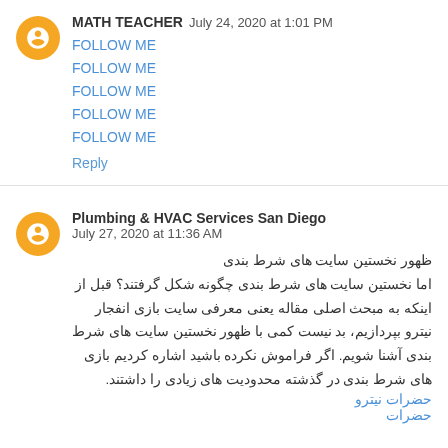MATH TEACHER  July 24, 2020 at 1:01 PM
FOLLOW ME
FOLLOW ME
FOLLOW ME
FOLLOW ME
FOLLOW ME
Reply
Plumbing & HVAC Services San Diego  July 27, 2020 at 11:36 AM
ظهور نخستین سایت های شرط بندی
اما نخستین سایت های شرط بندی چگونه شکل گرفتند؟ قبل از اینکه به مبحث اصلی مقاله یعنی معرفی سایت بازی انفجار نیترو بپردازیم، بد نیست کمی با ظهور نخستین سایت های شرط بندی آشنا شویم. اگر فراموش نکرده باشید اشاره کردیم بازی های شرط بندی در گذشته محدودیت های زیادی را داشتند.
حضرات نیترو
حضرات